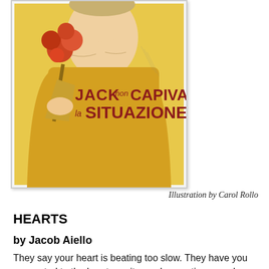[Figure (illustration): Book cover illustration showing a person holding red flowers, wearing a yellow shirt with red text reading 'JACK non CAPIVA la SITUAZIONE', against a yellow background]
Illustration by Carol Rollo
HEARTS
by Jacob Aiello
They say your heart is beating too slow. They have you connected to the heart monitor and every time you drop below 40 beats per minute it starts beeping and someone